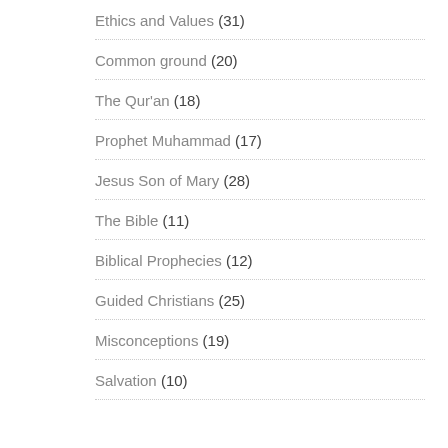Ethics and Values (31)
Common ground (20)
The Qur'an (18)
Prophet Muhammad (17)
Jesus Son of Mary (28)
The Bible (11)
Biblical Prophecies (12)
Guided Christians (25)
Misconceptions (19)
Salvation (10)